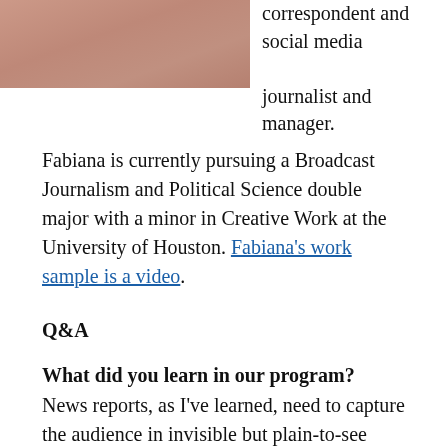[Figure (photo): Photo of a young woman wearing a pink/mauve top, cropped at top of page]
correspondent and social media journalist and manager. Fabiana is currently pursuing a Broadcast Journalism and Political Science double major with a minor in Creative Work at the University of Houston. Fabiana's work sample is a video.
Q&A
What did you learn in our program?
News reports, as I've learned, need to capture the audience in invisible but plain-to-see ways: through your inflection, your diction, and how you frame and cut shots for video